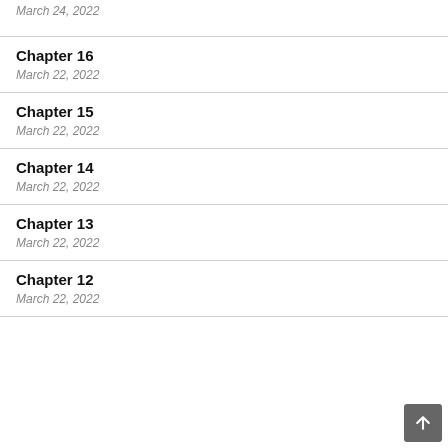March 24, 2022
Chapter 16
March 22, 2022
Chapter 15
March 22, 2022
Chapter 14
March 22, 2022
Chapter 13
March 22, 2022
Chapter 12
March 22, 2022